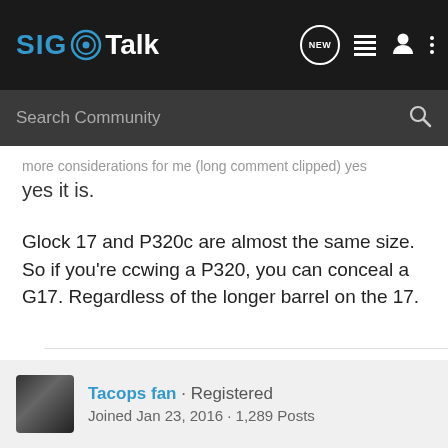[Figure (screenshot): SIGTalk forum website header with logo, search bar, and navigation icons]
yes it is.
Glock 17 and P320c are almost the same size. So if you're ccwing a P320, you can conceal a G17. Regardless of the longer barrel on the 17.
Sorry, gun info now private.
Tacops fan · Registered
Joined Jan 23, 2016 · 1,289 Posts